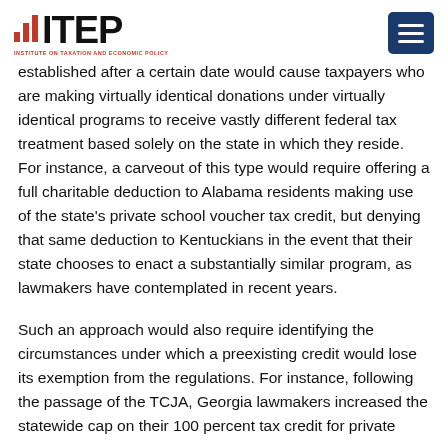ITEP — Institute on Taxation and Economic Policy
established after a certain date would cause taxpayers who are making virtually identical donations under virtually identical programs to receive vastly different federal tax treatment based solely on the state in which they reside. For instance, a carveout of this type would require offering a full charitable deduction to Alabama residents making use of the state's private school voucher tax credit, but denying that same deduction to Kentuckians in the event that their state chooses to enact a substantially similar program, as lawmakers have contemplated in recent years.
Such an approach would also require identifying the circumstances under which a preexisting credit would lose its exemption from the regulations. For instance, following the passage of the TCJA, Georgia lawmakers increased the statewide cap on their 100 percent tax credit for private